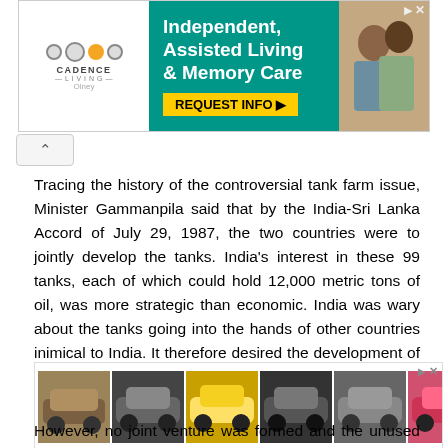[Figure (other): Advertisement banner for Cadence Living - Independent, Assisted Living & Memory Care with REQUEST INFO button and photo of elderly people]
[Figure (other): Collapse/scroll up button (chevron up icon)]
Tracing the history of the controversial tank farm issue, Minister Gammanpila said that by the India-Sri Lanka Accord of July 29, 1987, the two countries were to jointly develop the tanks. India's interest in these 99 tanks, each of which could hold 12,000 metric tons of oil, was more strategic than economic. India was wary about the tanks going into the hands of other countries inimical to India. It therefore desired the development of the tanks by an Indo-Lankan joint venture.
[Figure (other): Advertisement strip showing multiple car thumbnail images and a purple brand logo]
However, no joint venture was formed and the unused tanks continued to gather dust. But on February 7, 2003, the Ranil